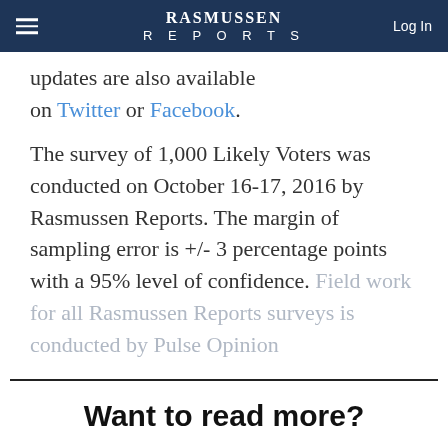RASMUSSEN REPORTS | Log In
updates are also available on Twitter or Facebook.
The survey of 1,000 Likely Voters was conducted on October 16-17, 2016 by Rasmussen Reports. The margin of sampling error is +/- 3 percentage points with a 95% level of confidence. Field work for all Rasmussen Reports surveys is conducted by Pulse Opinion
Want to read more?